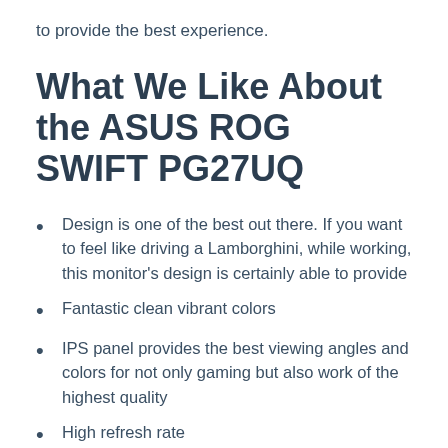to provide the best experience.
What We Like About the ASUS ROG SWIFT PG27UQ
Design is one of the best out there. If you want to feel like driving a Lamborghini, while working, this monitor's design is certainly able to provide
Fantastic clean vibrant colors
IPS panel provides the best viewing angles and colors for not only gaming but also work of the highest quality
High refresh rate